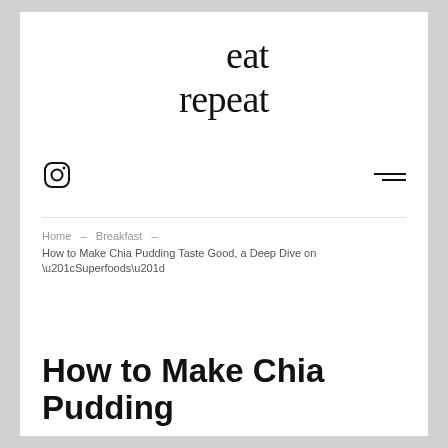eat
repeat
[Figure (logo): Instagram icon (camera outline)]
[Figure (other): Hamburger menu icon with two lines]
Home  →  Breakfast  →
How to Make Chia Pudding Taste Good, a Deep Dive on “Superfoods”
How to Make Chia Pudding